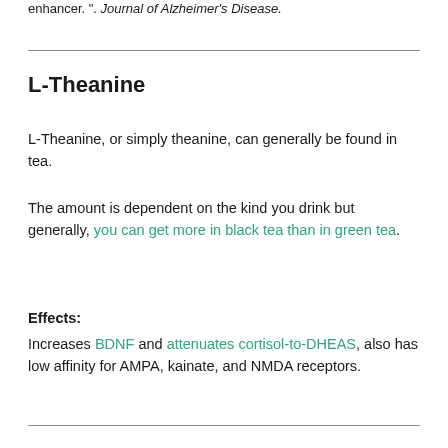enhancer. . Journal of Alzheimer's Disease.
L-Theanine
L-Theanine, or simply theanine, can generally be found in tea.
The amount is dependent on the kind you drink but generally, you can get more in black tea than in green tea.
Effects: Increases BDNF and attenuates cortisol-to-DHEAS, also has low affinity for AMPA, kainate, and NMDA receptors.